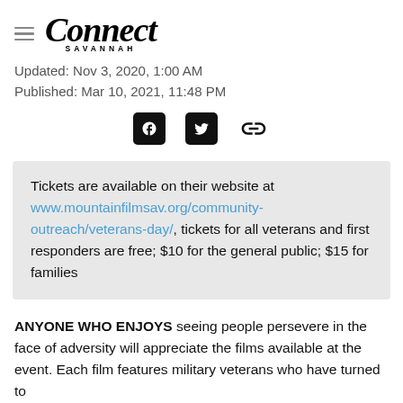Connect Savannah
Updated: Nov 3, 2020, 1:00 AM
Published: Mar 10, 2021, 11:48 PM
[Figure (other): Social share icons: Facebook, Twitter, and link/chain icon]
Tickets are available on their website at www.mountainfilmsav.org/community-outreach/veterans-day/, tickets for all veterans and first responders are free; $10 for the general public; $15 for families
ANYONE WHO ENJOYS seeing people persevere in the face of adversity will appreciate the films available at the event. Each film features military veterans who have turned to